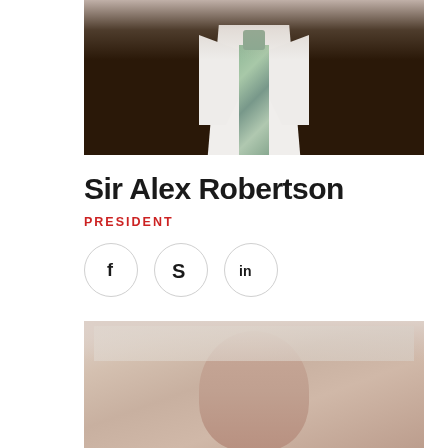[Figure (photo): Professional headshot of Sir Alex Robertson wearing a dark brown suit, white shirt, and blue-green striped tie. Photo cropped at chest level.]
Sir Alex Robertson
PRESIDENT
[Figure (illustration): Social media icons: Facebook (f), Skype (S), LinkedIn (in) in circular bordered buttons]
[Figure (photo): Professional headshot of a second person, bald, seen from top of head. Cropped at top of page.]